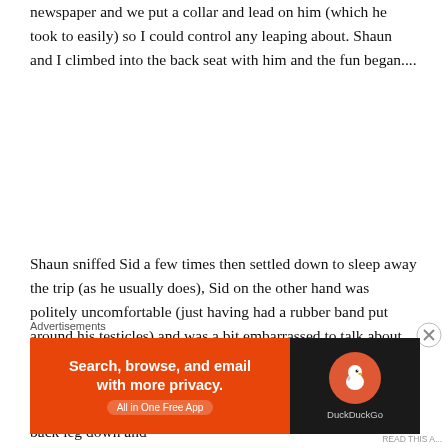newspaper and we put a collar and lead on him (which he took to easily) so I could control any leaping about. Shaun and I climbed into the back seat with him and the fun began....
Shaun sniffed Sid a few times then settled down to sleep away the trip (as he usually does), Sid on the other hand was politely uncomfortable (just having had a rubber band put around his testicles) and was a bit embarrassed to talk about it, so he settled for repositioning himself in various ways on the seat throughout the ride; he tried back to the front of the car with his back leg braced against the seat back, with his back leg down and
Advertisements
[Figure (other): DuckDuckGo advertisement banner with orange left panel reading 'Search, browse, and email with more privacy. All in One Free App' and dark right panel with DuckDuckGo logo and duck icon.]